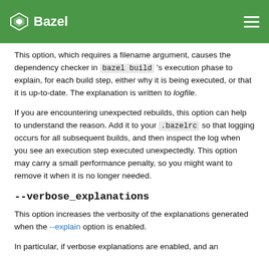Bazel
This option, which requires a filename argument, causes the dependency checker in bazel build 's execution phase to explain, for each build step, either why it is being executed, or that it is up-to-date. The explanation is written to logfile.
If you are encountering unexpected rebuilds, this option can help to understand the reason. Add it to your .bazelrc so that logging occurs for all subsequent builds, and then inspect the log when you see an execution step executed unexpectedly. This option may carry a small performance penalty, so you might want to remove it when it is no longer needed.
--verbose_explanations
This option increases the verbosity of the explanations generated when the --explain option is enabled.
In particular, if verbose explanations are enabled, and an